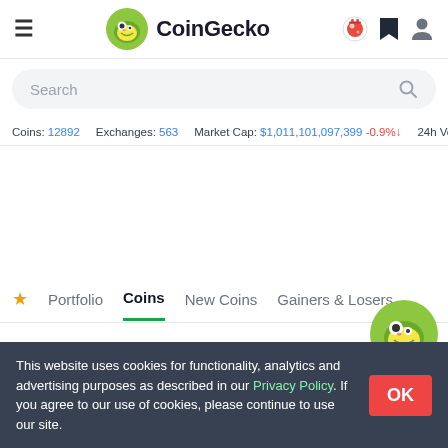CoinGecko
Search
Coins: 12892  Exchanges: 563  Market Cap: $1,011,101,097,399 -0.9%↓  24h Vol:
Portfolio  Coins  New Coins  Gainers & Losers
Cryptocurrency Prices by Market Cap
The global cryptocurrency market cap today is $1.01 Trillion -0.9%↓ change in the last 24 hours. Read More
This website uses cookies for functionality, analytics and advertising purposes as described in our Privacy Policy. If you agree to our use of cookies, please continue to use our site.